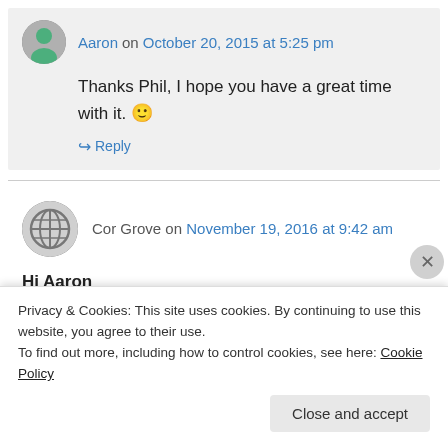Aaron on October 20, 2015 at 5:25 pm
Thanks Phil, I hope you have a great time with it. 🙂
↪ Reply
Cor Grove on November 19, 2016 at 9:42 am
Hi Aaron
Thanks for sharing with us. Your guitar looks and
Privacy & Cookies: This site uses cookies. By continuing to use this website, you agree to their use. To find out more, including how to control cookies, see here: Cookie Policy
Close and accept